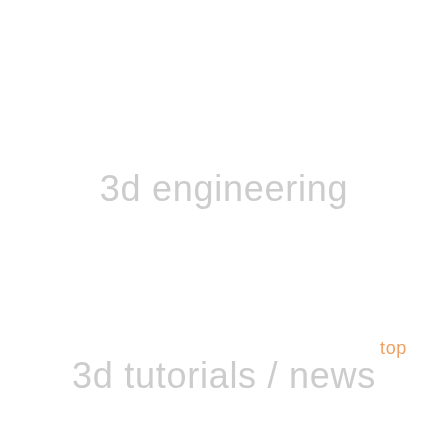3d engineering
3d tutorials / news top